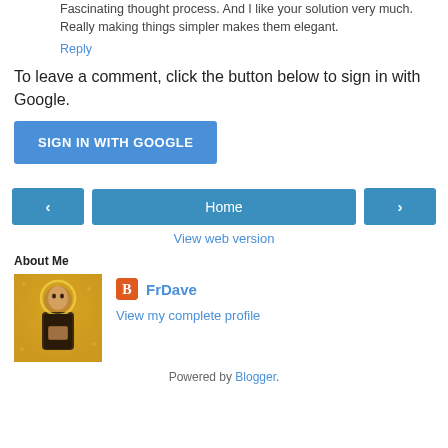Fascinating thought process. And I like your solution very much. Really making things simpler makes them elegant.
Reply
To leave a comment, click the button below to sign in with Google.
SIGN IN WITH GOOGLE
< Home >
View web version
About Me
[Figure (photo): Profile photo showing a mosaic or icon-style religious figure with gold background]
FrDave
View my complete profile
Powered by Blogger.